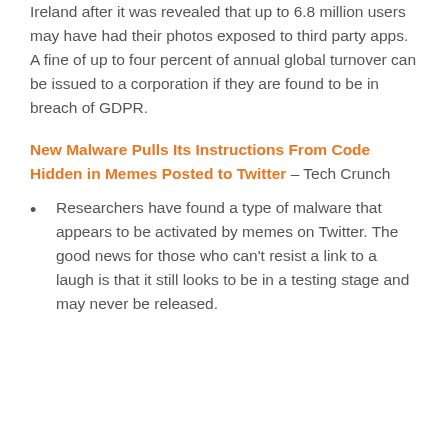Ireland after it was revealed that up to 6.8 million users may have had their photos exposed to third party apps. A fine of up to four percent of annual global turnover can be issued to a corporation if they are found to be in breach of GDPR.
New Malware Pulls Its Instructions From Code Hidden in Memes Posted to Twitter – Tech Crunch
Researchers have found a type of malware that appears to be activated by memes on Twitter. The good news for those who can't resist a link to a laugh is that it still looks to be in a testing stage and may never be released.